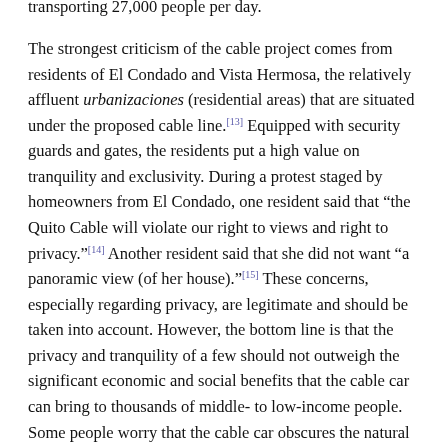transporting 27,000 people per day. The strongest criticism of the cable project comes from residents of El Condado and Vista Hermosa, the relatively affluent urbanizaciones (residential areas) that are situated under the proposed cable line.[13] Equipped with security guards and gates, the residents put a high value on tranquility and exclusivity. During a protest staged by homeowners from El Condado, one resident said that “the Quito Cable will violate our right to views and right to privacy.”[14] Another resident said that she did not want “a panoramic view (of her house).”[15] These concerns, especially regarding privacy, are legitimate and should be taken into account. However, the bottom line is that the privacy and tranquility of a few should not outweigh the significant economic and social benefits that the cable car can bring to thousands of middle- to low-income people. Some people worry that the cable car obscures the natural scenery; however, those homeowner’s right to views is not absolute, especially